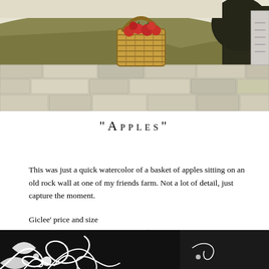[Figure (photo): Watercolor painting of a wicker basket filled with red apples sitting on top of an old stone rock wall, with rolling green field in the background]
"Apples"
This was just a quick watercolor of a basket of apples sitting on an old rock wall at one of my friends farm. Not a lot of detail, just capture the moment.
Giclee' price and size
Limited Edition 250 s/n    17 x 25    $ 300 (original size)
[Figure (illustration): Black and white decorative swirl/flourish pattern at the bottom of the page]